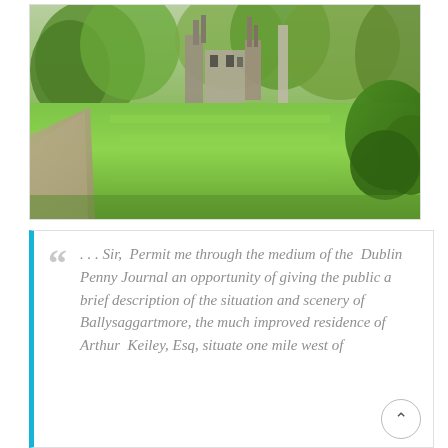[Figure (photo): Photograph of Ballysaggartmore castle ruins viewed across a wide green lawn, with trees in the background and stone architectural ruins including chimneys and arched windows. A gravel path is visible on the left side.]
... Sir, Permit me through the medium of the Dublin Penny Journal an opportunity of giving the public a brief description of the situation and scenery of Ballysaggartmore, the much improved residence of Arthur Keiley, Esq, situate one mile west of [continues below]